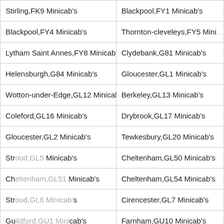| Stirling,FK9 Minicab's | Blackpool,FY1 Minicab's |
| Blackpool,FY4 Minicab's | Thornton-cleveleys,FY5 Minicab's |
| Lytham Saint Annes,FY8 Minicab's | Clydebank,G81 Minicab's |
| Helensburgh,G84 Minicab's | Gloucester,GL1 Minicab's |
| Wotton-under-Edge,GL12 Minicab's | Berkeley,GL13 Minicab's |
| Coleford,GL16 Minicab's | Drybrook,GL17 Minicab's |
| Gloucester,GL2 Minicab's | Tewkesbury,GL20 Minicab's |
| Stroud,GL5 Minicab's | Cheltenham,GL50 Minicab's |
| Cheltenham,GL51 Minicab's | Cheltenham,GL54 Minicab's |
| Stroud,GL6 Minicab's | Cirencester,GL7 Minicab's |
| Guildford,GU1 Minicab's | Farnham,GU10 Minicab's |
| Fleet,GU13 Minicab's | Farnborough,GU14 Minicab's |
| Camberley,GU17 Minicab's | Lightwater,GU18 Minicab's |
[Figure (screenshot): Chat widget popup overlay showing: close button (×), 'Hello there!' greeting, 'Good Day! We have Hidden offers on most of our routes, interested to know what lies...', input row with Type label and emoji/attachment icons. Below: a blue Chat button with notification badge showing '1'.]